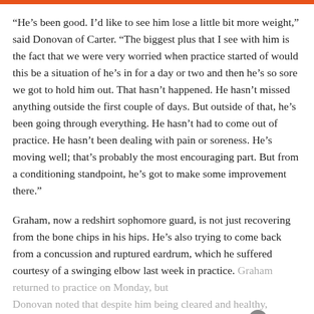“He’s been good. I’d like to see him lose a little bit more weight,” said Donovan of Carter. “The biggest plus that I see with him is the fact that we were very worried when practice started of would this be a situation of he’s in for a day or two and then he’s so sore we got to hold him out. That hasn’t happened. He hasn’t missed anything outside the first couple of days. But outside of that, he’s been going through everything. He hasn’t had to come out of practice. He hasn’t been dealing with pain or soreness. He’s moving well; that’s probably the most encouraging part. But from a conditioning standpoint, he’s got to make some improvement there.”
Graham, now a redshirt sophomore guard, is not just recovering from the bone chips in his hips. He’s also trying to come back from a concussion and ruptured eardrum, which he suffered courtesy of a swinging elbow last week in practice. Graham returned to practice on Monday, but Donovan noted that despite him being cleared and healthy, the player still has some maturing and developing to do. H...